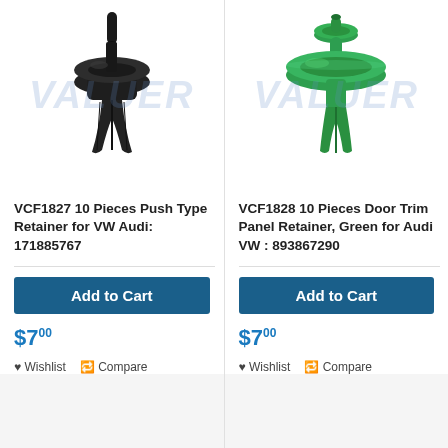[Figure (photo): Black push type plastic retainer clip with a thin stem and wide flat base, with a watermark logo]
VCF1827 10 Pieces Push Type Retainer for VW Audi: 171885767
Add to Cart
$7.00
Wishlist  Compare
[Figure (photo): Green door trim panel retainer clip with two disc-shaped flanges and a central stem, with a watermark logo]
VCF1828 10 Pieces Door Trim Panel Retainer, Green for Audi VW : 893867290
Add to Cart
$7.00
Wishlist  Compare